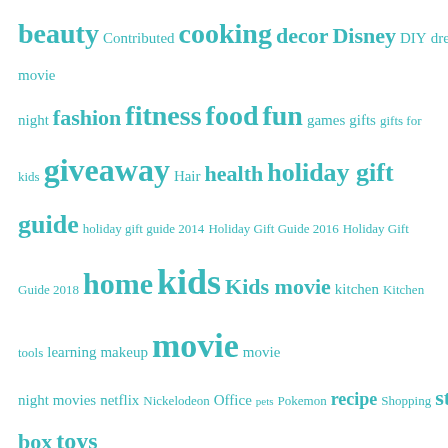beauty Contributed cooking decor Disney DIY dreamworks drinks dvd family family movie night fashion fitness food fun games gifts gifts for kids giveaway Hair health holiday gift guide holiday gift guide 2014 Holiday Gift Guide 2016 Holiday Gift Guide 2018 home kids Kids movie kitchen Kitchen tools learning makeup movie movie night movies netflix Nickelodeon Office pets Pokemon recipe Shopping style Subscription box toys
2022 VALENTINE'S DAY GIFT GUIDE
[Figure (illustration): Illustration of a cupid character with blonde hair, wings, and a bow with a heart-tipped arrow]